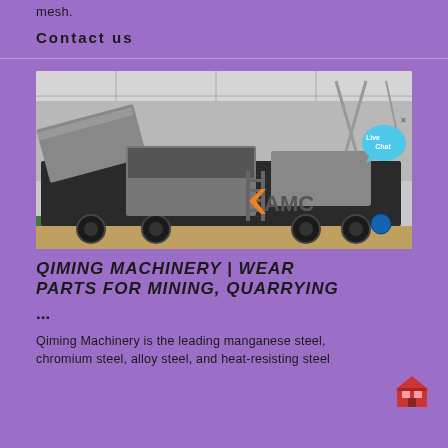mesh.
Contact us
[Figure (photo): Industrial mobile crushing/mining machinery with orange CAMC branding in a factory/outdoor setting. Large wheeled heavy equipment on display.]
QIMING MACHINERY | WEAR PARTS FOR MINING, QUARRYING ...
Qiming Machinery is the leading manganese steel, chromium steel, alloy steel, and heat-resisting steel